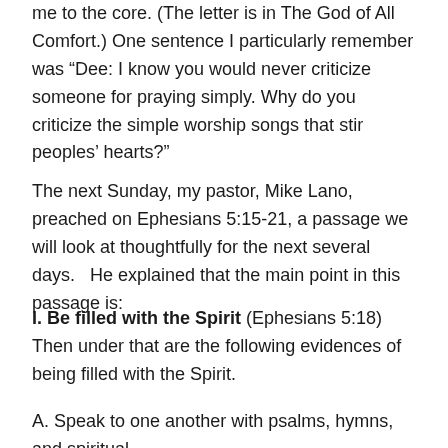me to the core. (The letter is in The God of All Comfort.) One sentence I particularly remember was “Dee: I know you would never criticize someone for praying simply. Why do you criticize the simple worship songs that stir peoples’ hearts?”
The next Sunday, my pastor, Mike Lano, preached on Ephesians 5:15-21, a passage we will look at thoughtfully for the next several days.   He explained that the main point in this passage is:
I. Be filled with the Spirit (Ephesians 5:18) Then under that are the following evidences of being filled with the Spirit.
A. Speak to one another with psalms, hymns, and spiritual